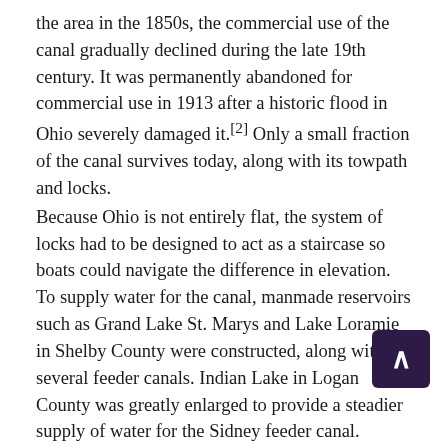the area in the 1850s, the commercial use of the canal gradually declined during the late 19th century. It was permanently abandoned for commercial use in 1913 after a historic flood in Ohio severely damaged it.[2] Only a small fraction of the canal survives today, along with its towpath and locks.
Because Ohio is not entirely flat, the system of locks had to be designed to act as a staircase so boats could navigate the difference in elevation. To supply water for the canal, manmade reservoirs such as Grand Lake St. Marys and Lake Loramie in Shelby County were constructed, along with several feeder canals. Indian Lake in Logan County was greatly enlarged to provide a steadier supply of water for the Sidney feeder canal.
Branch canals were built to serve as extensions from the main canal. The Warren County Canal, was a branch c... constructed from the Miami and Erie Canal at Middle... Lebanon. This branch was opened in 1840, but remained in